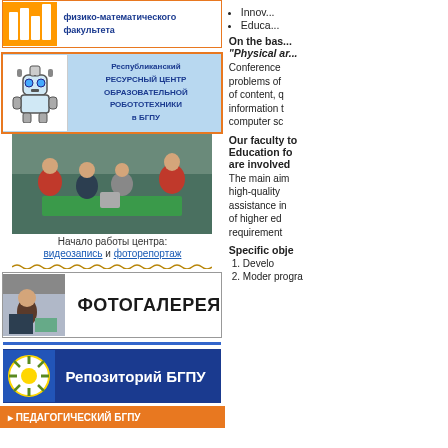[Figure (illustration): Banner for physics-mathematics faculty with orange logo]
[Figure (illustration): Republican Resource Centre for Educational Robotics at BSPU banner with robot icon on light blue background]
[Figure (photo): Photo of students in red shirts at a robotics demonstration table]
Начало работы центра:
видеозапись и фоторепортаж
[Figure (illustration): Photo gallery banner - ФОТОГАЛЕРЕЯ with woman at computer]
[Figure (illustration): Репозиторий БГПУ - repository banner with sunflower-like emblem on dark blue background]
[Figure (illustration): Orange banner at bottom, partially visible]
Innov...
Educa...
On the bas... "Physical ar...
Conference problems of of content, q information t computer sc
Our faculty to Education fo are involved
The main aim high-quality assistance in of higher ed requirement
Specific obje
1. Develo
2. Moder progra